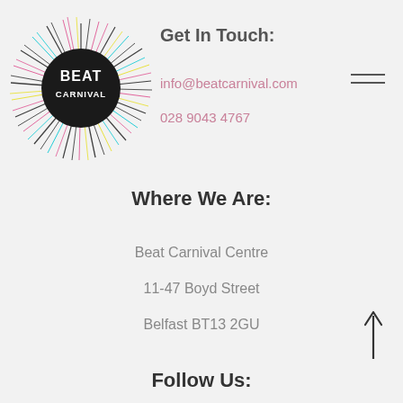[Figure (logo): Beat Carnival logo: black circle with 'BEAT CARNIVAL' text in white, surrounded by colorful radiating lines/spikes in pink, cyan, yellow, black and other colors forming a sunburst effect]
Get In Touch:
info@beatcarnival.com
028 9043 4767
Where We Are:
Beat Carnival Centre
11-47 Boyd Street
Belfast BT13 2GU
Follow Us: